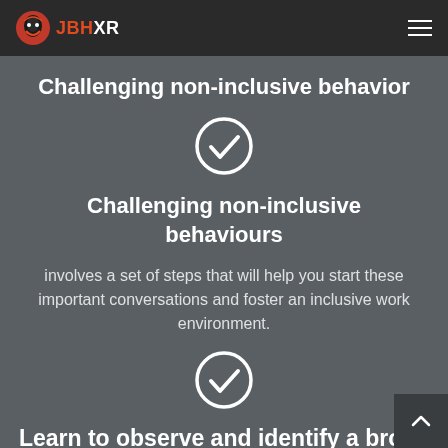JBHXR
Challenging non-inclusive behavior
[Figure (illustration): White checkmark inside a circle icon]
Challenging non-inclusive behaviours
involves a set of steps that will help you start these important conversations and foster an inclusive work environment.
[Figure (illustration): White checkmark inside a circle icon]
Learn to observe and identify a broad range of non-inclusive